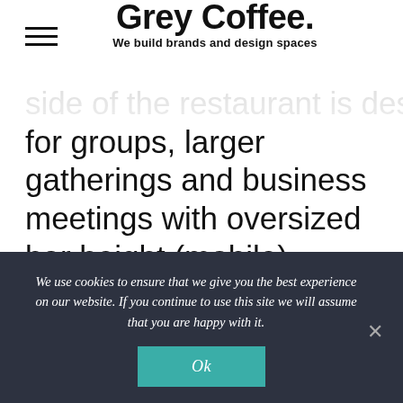Grey Coffee. We build brands and design spaces
side of the restaurant is designed for groups, larger gatherings and business meetings with oversized bar height (mobile) tables. The restaurant is easy to navigate so whether you are popping in for chilled coffee, a formal sit down
We use cookies to ensure that we give you the best experience on our website. If you continue to use this site we will assume that you are happy with it. Ok